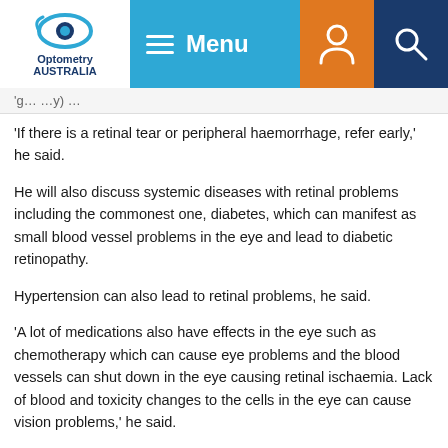Optometry Australia — Menu navigation bar
'If there is a retinal tear or peripheral haemorrhage, refer early,' he said.
He will also discuss systemic diseases with retinal problems including the commonest one, diabetes, which can manifest as small blood vessel problems in the eye and lead to diabetic retinopathy.
Hypertension can also lead to retinal problems, he said.
'A lot of medications also have effects in the eye such as chemotherapy which can cause eye problems and the blood vessels can shut down in the eye causing retinal ischaemia. Lack of blood and toxicity changes to the cells in the eye can cause vision problems,' he said.
Professor Kwan said syndromic eye disease was another cause of retinal problems. For example, people born with syndromes such as Down syndrome could have early onset cataracts.